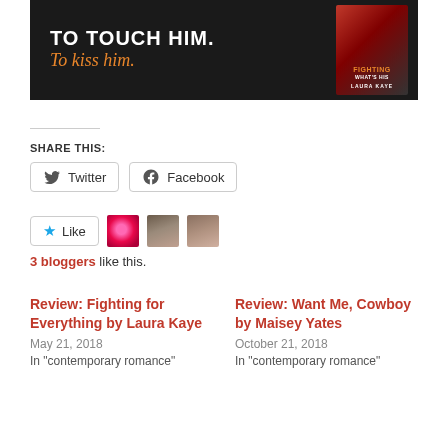[Figure (photo): Book cover promotional banner for 'Fighting What's His' by Laura Kaye. Dark background with white text 'TO TOUCH HIM.' and orange italic text 'To kiss him.' Book cover thumbnail visible on right.]
SHARE THIS:
[Figure (infographic): Twitter and Facebook share buttons rendered as bordered button elements with icons.]
[Figure (infographic): Like button with star icon and three blogger avatar thumbnails (flower, woman, woman).]
3 bloggers like this.
Review: Fighting for Everything by Laura Kaye
May 21, 2018
In "contemporary romance"
Review: Want Me, Cowboy by Maisey Yates
October 21, 2018
In "contemporary romance"